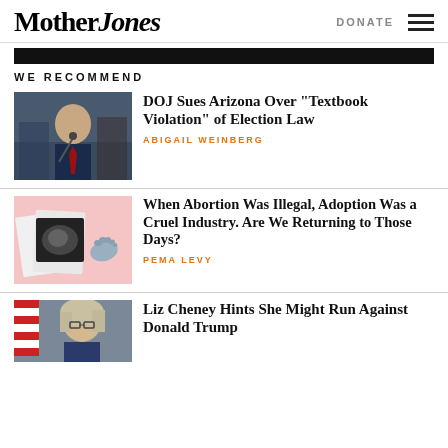Mother Jones | DONATE
WE RECOMMEND
[Figure (photo): Man in dark suit and red tie speaking at a podium]
DOJ Sues Arizona Over “Textbook Violation” of Election Law
ABIGAIL WEINBERG
[Figure (photo): Abortion-era adoption documents with ultrasound image on pink background]
When Abortion Was Illegal, Adoption Was a Cruel Industry. Are We Returning to Those Days?
PEMA LEVY
[Figure (photo): Liz Cheney in front of American flag]
Liz Cheney Hints She Might Run Against Donald Trump